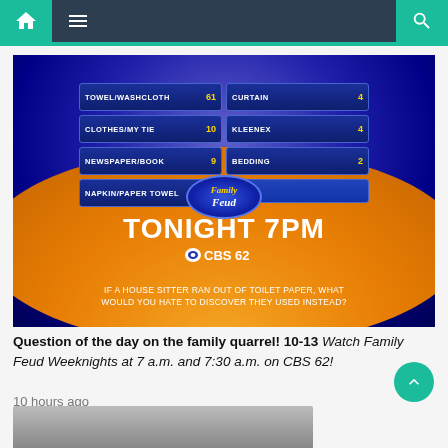Navigation bar with home, menu, and search icons
[Figure (screenshot): Family Feud TV show promotional image showing game board with answers to 'If a house sitter ran out of toilet paper, what would you hate to discover they used instead?' with answers: TOWEL/WASHCLOTH 61, CURTAIN 4, CLOTHES/MY TIE 10, KLEENEX 4, NEWSPAPER/BOOK 9, BEDDING 2, NAPKIN/PAPER TOWEL 7. Bottom shows 'TONIGHT 7PM CBS 62' and the question text on orange/blue background.]
Question of the day on the family quarrel! 10-13 Watch Family Feud Weeknights at 7 a.m. and 7:30 a.m. on CBS 62!
10 hours ago